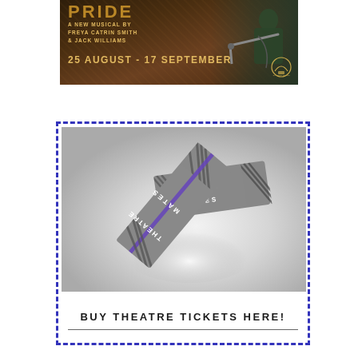[Figure (photo): Theatre show promotional banner: 'A NEW MUSICAL BY FREYA CATRIN SMITH & JACK WILLIAMS, 25 AUGUST - 17 SEPTEMBER' on a dark brown background with a person holding a bicycle handlebar on the right, and a Charing Cross Theatre logo.]
[Figure (photo): Theatre Mates branded tickets/passes displayed on a grey gradient background. The tickets are grey rectangles with 'THEATRE MATES' text, one rotated diagonally, with a purple stripe accent.]
BUY THEATRE TICKETS HERE!